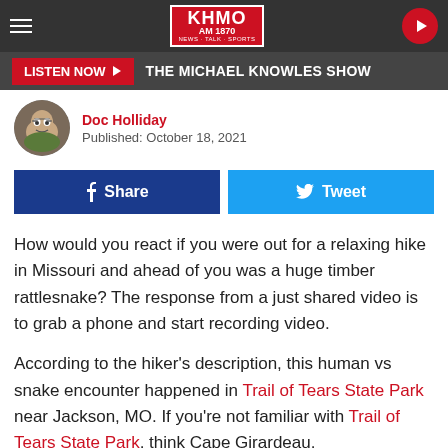KHMO AM 1870 | THE MICHAEL KNOWLES SHOW
Doc Holliday
Published: October 18, 2021
Share  Tweet
How would you react if you were out for a relaxing hike in Missouri and ahead of you was a huge timber rattlesnake? The response from a just shared video is to grab a phone and start recording video.
According to the hiker's description, this human vs snake encounter happened in Trail of Tears State Park near Jackson, MO. If you're not familiar with Trail of Tears State Park, think Cape Girardeau.